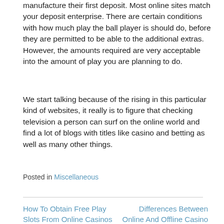manufacture their first deposit. Most online sites match your deposit enterprise. There are certain conditions with how much play the ball player is should do, before they are permitted to be able to the additional extras. However, the amounts required are very acceptable into the amount of play you are planning to do.
We start talking because of the rising in this particular kind of websites, it really is to figure that checking television a person can surf on the online world and find a lot of blogs with titles like casino and betting as well as many other things.
Posted in Miscellaneous
How To Obtain Free Play Slots From Online Casinos
Differences Between Online And Offline Casino